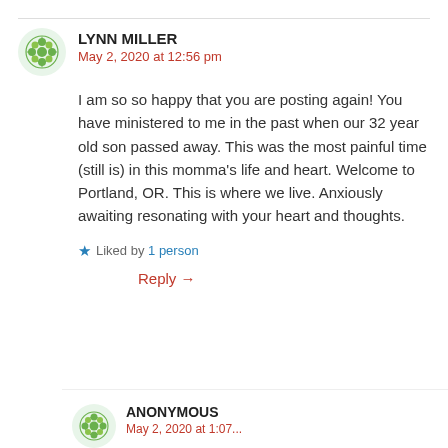LYNN MILLER
May 2, 2020 at 12:56 pm
I am so so happy that you are posting again! You have ministered to me in the past when our 32 year old son passed away. This was the most painful time (still is) in this momma’s life and heart. Welcome to Portland, OR. This is where we live. Anxiously awaiting resonating with your heart and thoughts.
Liked by 1 person
Reply →
ANONYMOUS